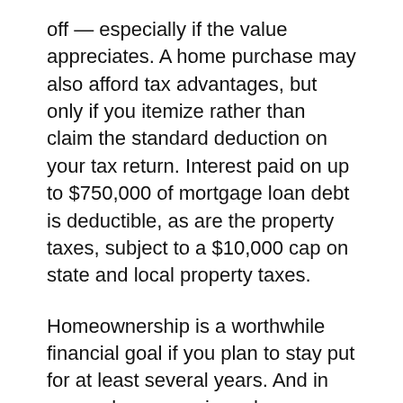off — especially if the value appreciates. A home purchase may also afford tax advantages, but only if you itemize rather than claim the standard deduction on your tax return. Interest paid on up to $750,000 of mortgage loan debt is deductible, as are the property taxes, subject to a $10,000 cap on state and local property taxes.
Homeownership is a worthwhile financial goal if you plan to stay put for at least several years. And in many places, owning a home can be less expensive than renting, thanks to low interest rates. But there could be hurdles to overcome, including a hot real estate market, high prices, lingering student debt, and the large chunk of money required for a down payment.
When shopping for a home, resist the temptation to buy more house than you can